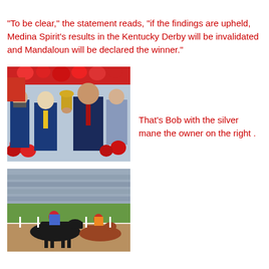"To be clear," the statement reads, "if the findings are upheld, Medina Spirit's results in the Kentucky Derby will be invalidated and Mandaloun will be declared the winner."
[Figure (photo): Group of men at Kentucky Derby winner's circle with roses and trophy; Bob Baffert with silver mane holding trophy, owner on the right.]
That's Bob with the silver mane the owner on the right .
[Figure (photo): Horse race at Churchill Downs during the Kentucky Derby, jockey on dark horse leading the pack in front of packed grandstands.]